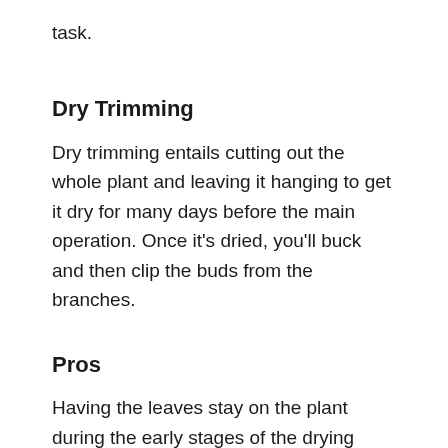task.
Dry Trimming
Dry trimming entails cutting out the whole plant and leaving it hanging to get it dry for many days before the main operation. Once it's dried, you'll buck and then clip the buds from the branches.
Pros
Having the leaves stay on the plant during the early stages of the drying operation causes a delayed drying time, which is beneficial in arid regions where a rapid drying time might result in an excessive loss of